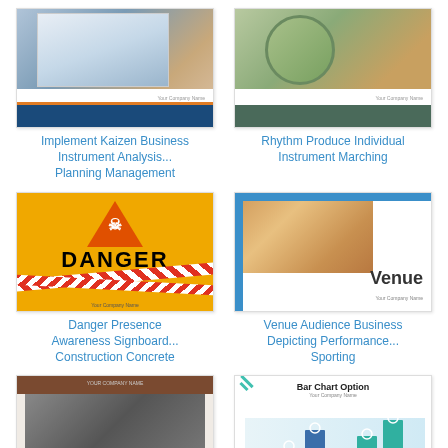[Figure (screenshot): Thumbnail of a business presentation slide titled Kaizen Business Instrument Analysis Planning Management with a dark blue bar at the bottom and orange accent line]
Implement Kaizen Business Instrument Analysis... Planning Management
[Figure (screenshot): Thumbnail of a presentation slide with a circular drum/marching instrument image and dark green bar]
Rhythm Produce Individual Instrument Marching
[Figure (screenshot): Thumbnail of a Danger signboard slide with yellow background, triangular warning sign, DANGER text, and red-white caution tape]
Danger Presence Awareness Signboard... Construction Concrete
[Figure (screenshot): Thumbnail of a Venue presentation slide with blue border accent, floral table setting photo, and Venue text]
Venue Audience Business Depicting Performance... Sporting
[Figure (screenshot): Thumbnail of a Commercial Contract slide with brown header, business meeting photo, and green banner text]
Commercial Contract
[Figure (screenshot): Thumbnail of a Bar Chart Option slide with teal/blue bar chart graphic and company name]